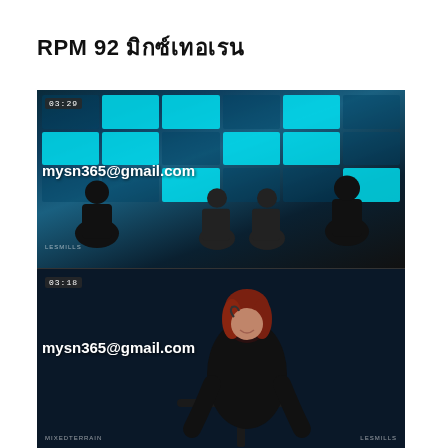RPM 92 มิกซ์เทอเรน
[Figure (screenshot): Indoor cycling class screenshot with cyan light panels on ceiling, multiple riders on bikes, timestamp 03:29, watermark mysn365@gmail.com overlay]
[Figure (screenshot): Indoor cycling instructor with red hair on bike, smiling, timestamp 03:18, watermark mysn365@gmail.com overlay, MIXEDTERRAIN and LESMILLS text visible]
[Figure (screenshot): Partial indoor cycling screenshot, timestamp 04:59 visible at bottom]